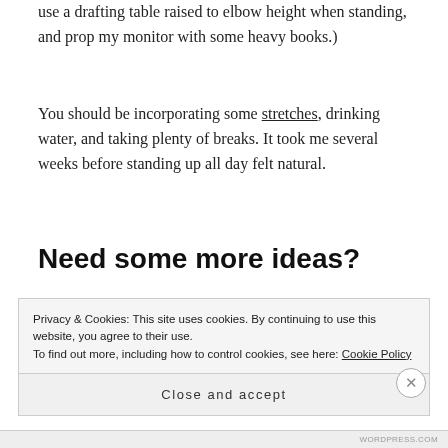use a drafting table raised to elbow height when standing, and prop my monitor with some heavy books.)
You should be incorporating some stretches, drinking water, and taking plenty of breaks. It took me several weeks before standing up all day felt natural.
Need some more ideas?
Privacy & Cookies: This site uses cookies. By continuing to use this website, you agree to their use.
To find out more, including how to control cookies, see here: Cookie Policy
Close and accept